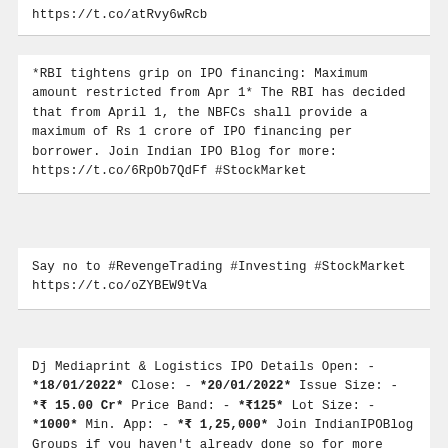https://t.co/atRvy6wRcb
*RBI tightens grip on IPO financing: Maximum amount restricted from Apr 1* The RBI has decided that from April 1, the NBFCs shall provide a maximum of Rs 1 crore of IPO financing per borrower. Join Indian IPO Blog for more: https://t.co/6RpOb7QdFf #StockMarket
Say no to #RevengeTrading #Investing #StockMarket https://t.co/oZYBEW9tVa
Dj Mediaprint & Logistics IPO Details Open: - *18/01/2022* Close: - *20/01/2022* Issue Size: - *₹ 15.00 Cr* Price Band: - *₹125* Lot Size: - *1000* Min. App: - *₹ 1,25,000* Join IndianIPOBlog Groups if you haven't already done so for more updates: